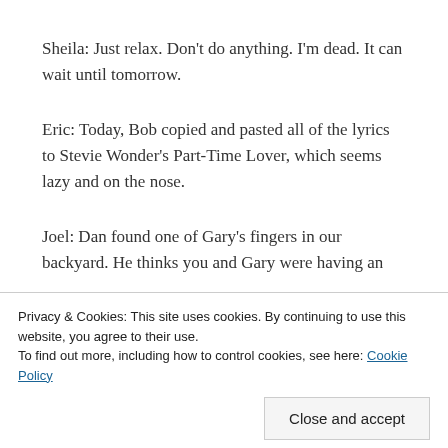Sheila: Just relax. Don't do anything. I'm dead. It can wait until tomorrow.
Eric: Today, Bob copied and pasted all of the lyrics to Stevie Wonder's Part-Time Lover, which seems lazy and on the nose.
Joel: Dan found one of Gary's fingers in our backyard. He thinks you and Gary were having an
Privacy & Cookies: This site uses cookies. By continuing to use this website, you agree to their use.
To find out more, including how to control cookies, see here: Cookie Policy
Close and accept
just settling into being a real estate broker who